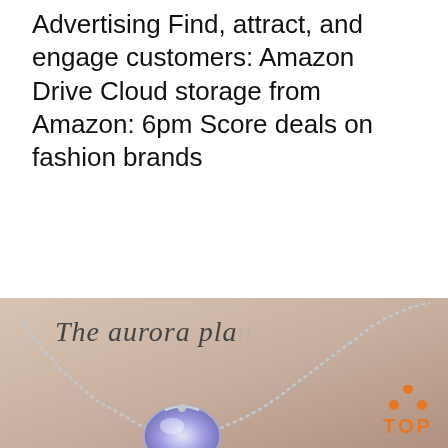Advertising Find, attract, and engage customers: Amazon Drive Cloud storage from Amazon: 6pm Score deals on fashion brands
[Figure (other): Orange 'Get Price' button]
[Figure (other): 24/7 Online chat widget with customer service representative wearing headset, 'Click here for free chat!' text, and orange QUOTATION button]
[Figure (other): Product photo showing a silver necklace with aurora/moonstone pendant on beige background, with cursive text 'The aurora pla...' partially visible]
[Figure (other): Orange 'TOP' logo with dot triangle above text in bottom right corner]